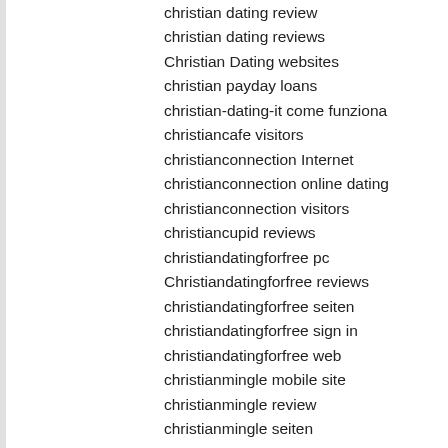christian dating review
christian dating reviews
Christian Dating websites
christian payday loans
christian-dating-it come funziona
christiancafe visitors
christianconnection Internet
christianconnection online dating
christianconnection visitors
christiancupid reviews
christiandatingforfree pc
Christiandatingforfree reviews
christiandatingforfree seiten
christiandatingforfree sign in
christiandatingforfree web
christianmingle mobile site
christianmingle review
christianmingle seiten